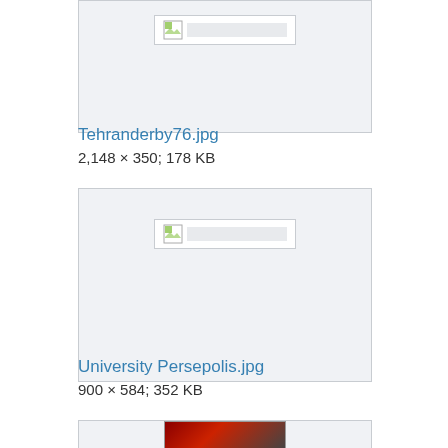[Figure (photo): Broken image placeholder for Tehranderby76.jpg]
Tehranderby76.jpg
2,148 × 350; 178 KB
[Figure (photo): Broken image placeholder for University Persepolis.jpg]
University Persepolis.jpg
900 × 584; 352 KB
[Figure (photo): Partially visible image at bottom of page]